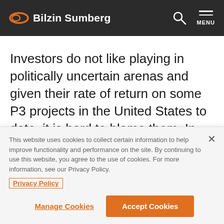Bilzin Sumberg
Investors do not like playing in politically uncertain arenas and given their rate of return on some P3 projects in the United States to date, it is hard to blame them. In other countries, a request for P3 proposals is
This website uses cookies to collect certain information to help improve functionality and performance on the site. By continuing to use this website, you agree to the use of cookies. For more information, see our Privacy Policy.
Privacy Policy
Manage Cookies
Accept Cookies